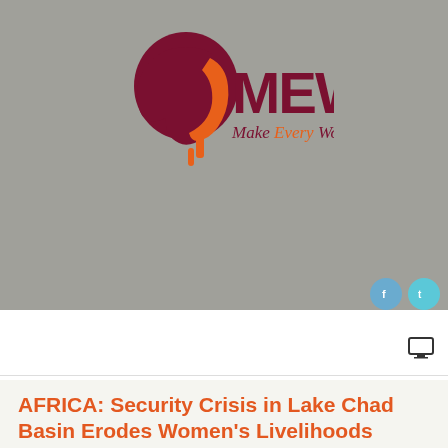[Figure (logo): MEWC – Make Every Woman Count logo: dark red silhouette of African woman profile and orange flame/face accent, with bold dark red MEWC letters and subtitle 'Make Every Woman Count' in mixed dark red and orange text]
AFRICA: Security Crisis in Lake Chad Basin Erodes Women's Livelihoods
Published: 29 April 2021
Last Updated: 30 April 2021